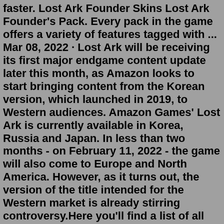faster. Lost Ark Founder Skins Lost Ark Founder's Pack. Every pack in the game offers a variety of features tagged with ... Mar 08, 2022 · Lost Ark will be receiving its first major endgame content update later this month, as Amazon looks to start bringing content from the Korean version, which launched in 2019, to Western audiences. Amazon Games' Lost Ark is currently available in Korea, Russia and Japan. In less than two months - on February 11, 2022 - the game will also come to Europe and North America. However, as it turns out, the version of the title intended for the Western market is already stirring controversy.Here you'll find a list of all Mage skin sets currently available in the western version of Lost Ark. Listed are skins in Lost Ark available for all mage subclasses (Sorceress, Bard, Summoner (upcoming) and Arcanist (upcoming)) as well es Bard exclusive skins and Sorceress exclusive skins Table of Contents 1. Skins For All Mage Subclasses 2.Can't be dyed. Tradable. Can't be tradedMar 10, 2022 · Developers Smilegate has confirmed that the Lost Ark Omen